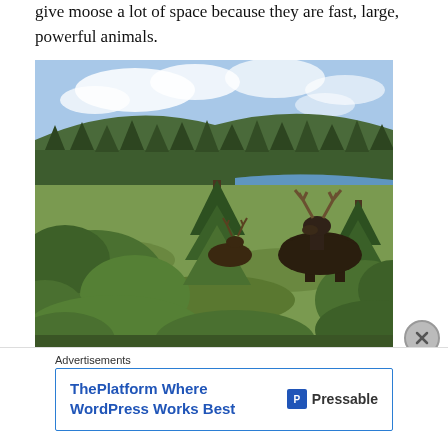give moose a lot of space because they are fast, large, powerful animals.
[Figure (photo): Two moose partially hidden among dense green brush and small evergreen trees in a wilderness setting, with a forest of pine trees and a lake visible in the background under a partly cloudy sky.]
Advertisements
ThePlatform Where WordPress Works Best  P Pressable